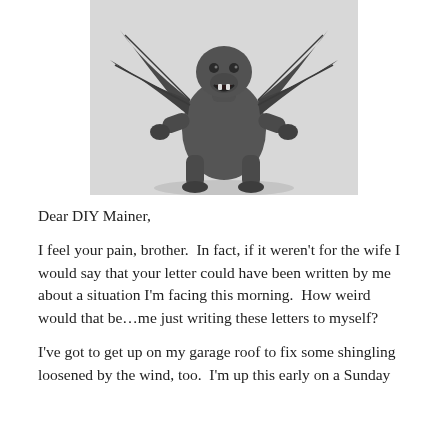[Figure (photo): A dark gray gargoyle figurine/toy with wings, claws, and an open mouth, photographed against a white background.]
Dear DIY Mainer,
I feel your pain, brother.  In fact, if it weren't for the wife I would say that your letter could have been written by me about a situation I'm facing this morning.  How weird would that be…me just writing these letters to myself?
I've got to get up on my garage roof to fix some shingling loosened by the wind, too.  I'm up this early on a Sunday